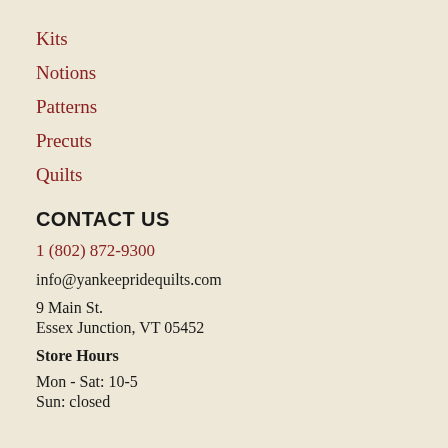Kits
Notions
Patterns
Precuts
Quilts
CONTACT US
1 (802) 872-9300
info@yankeepridequilts.com
9 Main St.
Essex Junction, VT 05452
Store Hours
Mon - Sat:  10-5
Sun:  closed